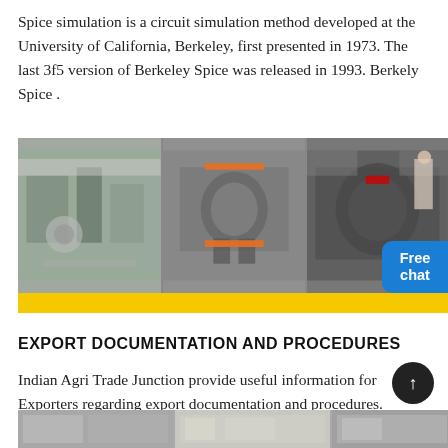Spice simulation is a circuit simulation method developed at the University of California, Berkeley, first presented in 1973. The last 3f5 version of Berkeley Spice was released in 1993. Berkely Spice .
[Figure (photo): Three industrial factory/machinery photos side by side with yellow bar at bottom and a blue 'Free chat' button on the right]
EXPORT DOCUMENTATION AND PROCEDURES
Indian Agri Trade Junction provide useful information for Exporters regarding export documentation and procedures. Exporters should seriously consider having the freight forwarder handle the formidable .
[Figure (photo): Three industrial/warehouse photos side by side at bottom of page]